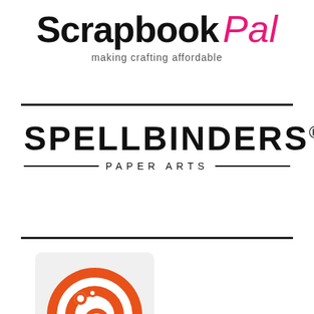[Figure (logo): Scrapbook Pal logo with bold black 'Scrapbook' text, pink cursive 'Pal' text, and tagline 'making crafting affordable']
[Figure (logo): Spellbinders Paper Arts logo in black uppercase letters with decorative horizontal lines flanking 'PAPER ARTS']
[Figure (logo): Orange circle logo with white circle inside containing bubble/circle design elements, on light gray rounded rectangle background]